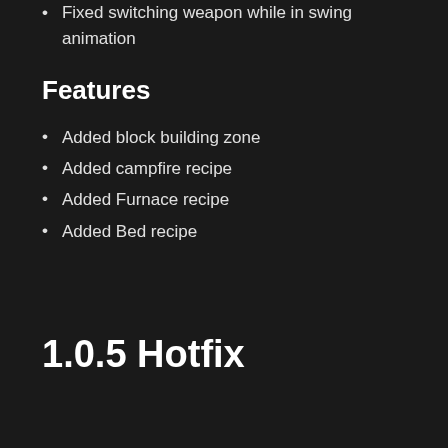Fixed switching weapon while in swing animation
Features
Added block building zone
Added campfire recipe
Added Furnace recipe
Added Bed recipe
1.0.5 Hotfix